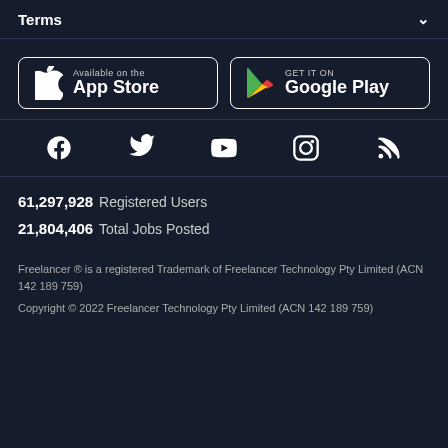Terms
[Figure (logo): App Store and Google Play download buttons]
[Figure (infographic): Social media icons: Facebook, Twitter, YouTube, Instagram, RSS]
61,297,928  Registered Users
21,804,406  Total Jobs Posted
Freelancer ® is a registered Trademark of Freelancer Technology Pty Limited (ACN 142 189 759)
Copyright © 2022 Freelancer Technology Pty Limited (ACN 142 189 759)